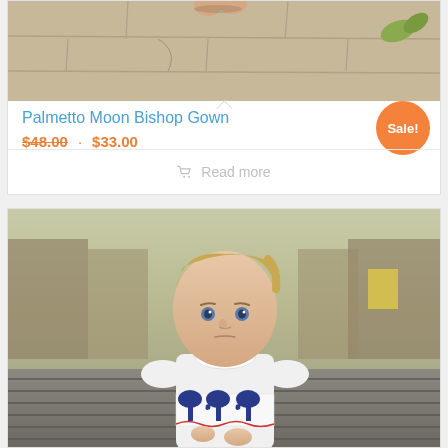[Figure (photo): Top portion of a child standing on stone pavement with leaves, feet visible]
Palmetto Moon Bishop Gown
$48.00 · $33.00
Sale!
Read more
[Figure (photo): Blonde toddler girl in white smocked dress with palmetto moon design standing on a wooden bridge/boardwalk]